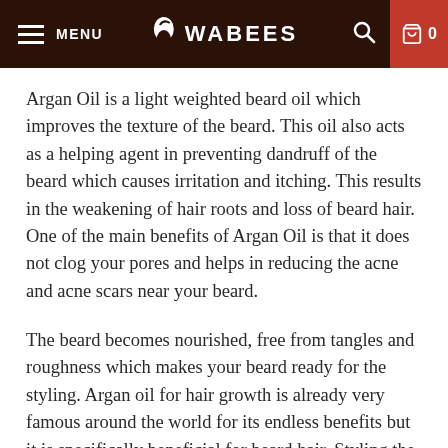MENU | WABEES | 0
Argan Oil is a light weighted beard oil which improves the texture of the beard. This oil also acts as a helping agent in preventing dandruff of the beard which causes irritation and itching. This results in the weakening of hair roots and loss of beard hair. One of the main benefits of Argan Oil is that it does not clog your pores and helps in reducing the acne and acne scars near your beard.
The beard becomes nourished, free from tangles and roughness which makes your beard ready for the styling. Argan oil for hair growth is already very famous around the world for its endless benefits but it is specifically beneficial for beard hair. Styling the beard with different gels and sprays